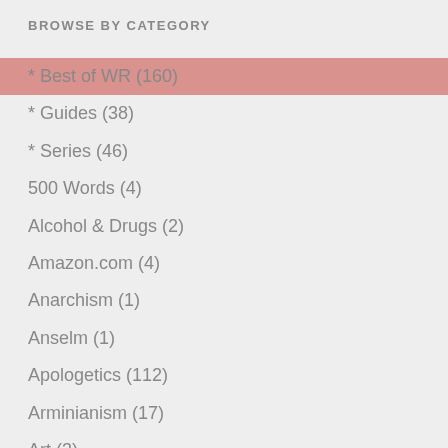BROWSE BY CATEGORY
* Best of WR (160)
* Guides (38)
* Series (46)
500 Words (4)
Alcohol & Drugs (2)
Amazon.com (4)
Anarchism (1)
Anselm (1)
Apologetics (112)
Arminianism (17)
Art (3)
Atheism (122)
Augustine (12)
Baptism (1)
Basics (4)
Bible (24)